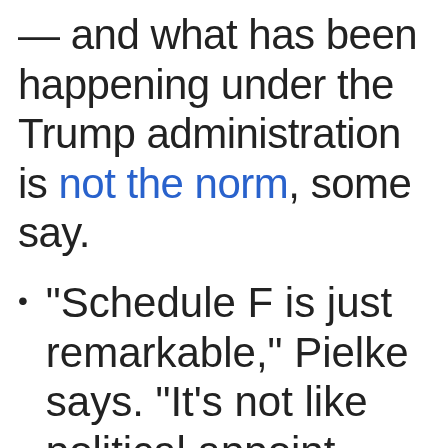— and what has been happening under the Trump administration is not the norm, some say.
"Schedule F is just remarkable," Pielke says. "It's not like political appointees